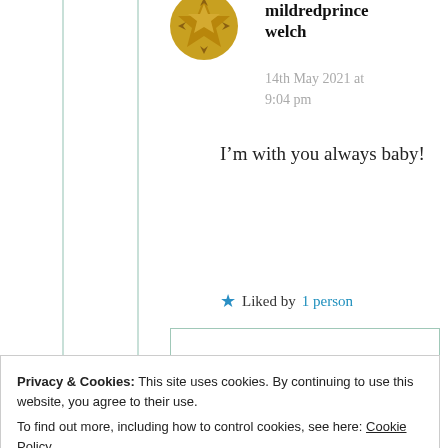mildredprince welch
14th May 2021 at 9:04 pm
I’m with you always baby!
★ Liked by 1 person
Privacy & Cookies: This site uses cookies. By continuing to use this website, you agree to their use. To find out more, including how to control cookies, see here: Cookie Policy
Close and accept
Love you loads, thank